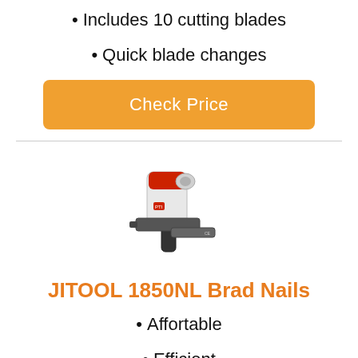Includes 10 cutting blades
Quick blade changes
Check Price
[Figure (photo): Photo of JITOOL 1850NL Brad Nailer — white and red pneumatic brad nail gun with black grip]
JITOOL 1850NL Brad Nails
Affortable
Efficient
Metal body